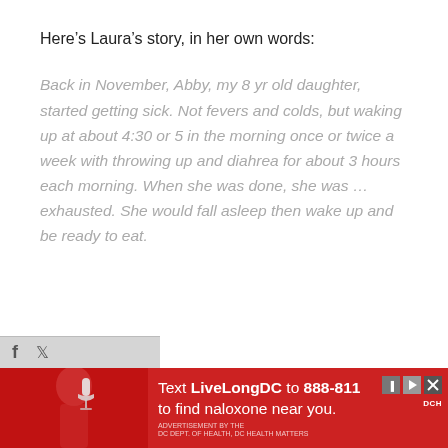Here’s Laura’s story, in her own words:
Back in November, Abby, my 8 yr old daughter, started getting sick. Not fevers and colds, but waking up at about 4:30 or 5 in the morning once or twice a week with throwing up and diahrea for about 3 hours each morning. When she was done, she was … exhausted. She would fall asleep then wake up and be ready to eat.
[Figure (infographic): Advertisement banner: Text LiveLongDC to 888-811 to find naloxone near you. Red background with image of person holding microphone, DC Health logo, play and close icons.]